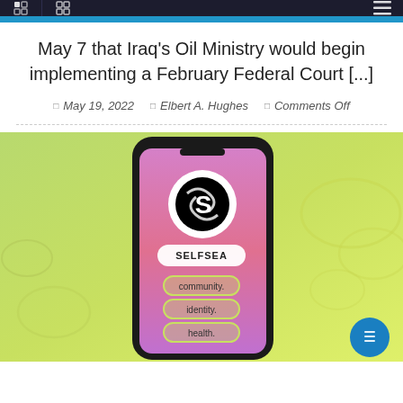Navigation header bar with icons
May 7 that Iraq's Oil Ministry would begin implementing a February Federal Court [...]
May 19, 2022   Elbert A. Hughes   Comments Off
[Figure (screenshot): Screenshot of a smartphone displaying the SELFSEA app interface with a logo, app name, and menu buttons for community, identity, and health on a pink-to-purple gradient background. The phone is set against a green-yellow gradient background with abstract shapes.]